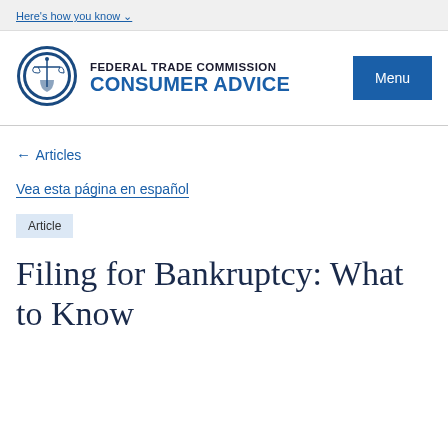Here's how you know
[Figure (logo): Federal Trade Commission seal/logo, circular blue emblem with scales of justice]
FEDERAL TRADE COMMISSION
CONSUMER ADVICE
Menu
← Articles
Vea esta página en español
Article
Filing for Bankruptcy: What to Know